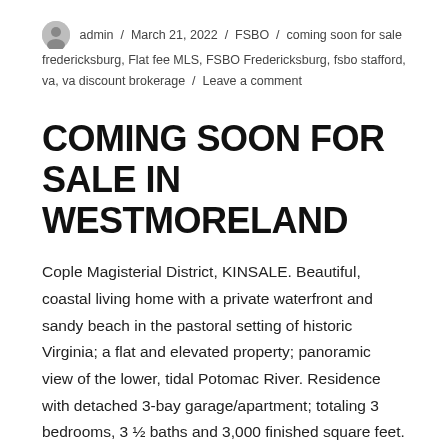admin / March 21, 2022 / FSBO / coming soon for sale fredericksburg, Flat fee MLS, FSBO Fredericksburg, fsbo stafford, va, va discount brokerage / Leave a comment
COMING SOON FOR SALE IN WESTMORELAND
Cople Magisterial District, KINSALE. Beautiful, coastal living home with a private waterfront and sandy beach in the pastoral setting of historic Virginia; a flat and elevated property; panoramic view of the lower, tidal Potomac River. Residence with detached 3-bay garage/apartment; totaling 3 bedrooms, 3 ½ baths and 3,000 finished square feet. Living/Dining Room with 21' … Continue reading